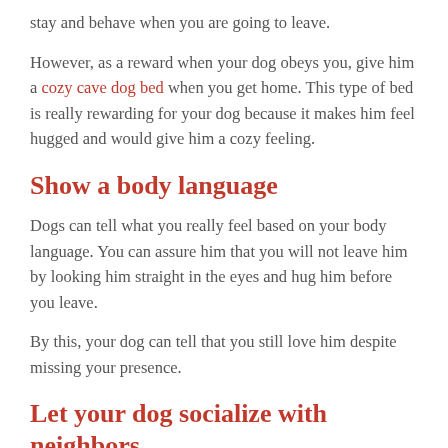stay and behave when you are going to leave.
However, as a reward when your dog obeys you, give him a cozy cave dog bed when you get home. This type of bed is really rewarding for your dog because it makes him feel hugged and would give him a cozy feeling.
Show a body language
Dogs can tell what you really feel based on your body language. You can assure him that you will not leave him by looking him straight in the eyes and hug him before you leave.
By this, your dog can tell that you still love him despite missing your presence.
Let your dog socialize with neighbors
Give time to have a walk in the park to let your dog see other people. If he can see other people and other